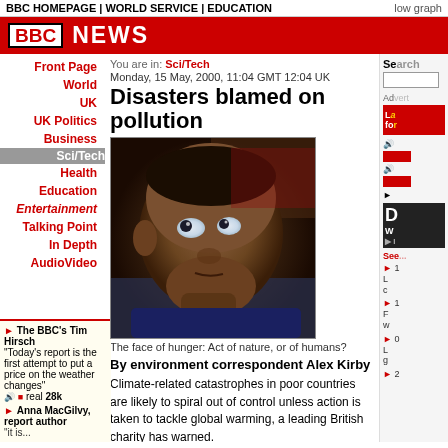BBC HOMEPAGE | WORLD SERVICE | EDUCATION | low graph
BBC NEWS
You are in: Sci/Tech
Monday, 15 May, 2000, 11:04 GMT 12:04 UK
Disasters blamed on pollution
[Figure (photo): Close-up photograph of a young African child's face looking upward, described as 'The face of hunger: Act of nature, or of humans?']
The face of hunger: Act of nature, or of humans?
By environment correspondent Alex Kirby
Climate-related catastrophes in poor countries are likely to spiral out of control unless action is taken to tackle global warming, a leading British charity has warned.
Front Page
World
UK
UK Politics
Business
Sci/Tech
Health
Education
Entertainment
Talking Point
In Depth
AudioVideo
The BBC's Tim Hirsch "Today's report is the first attempt to put a price on the weather changes" real 28k
Anna MacGilvy, report author